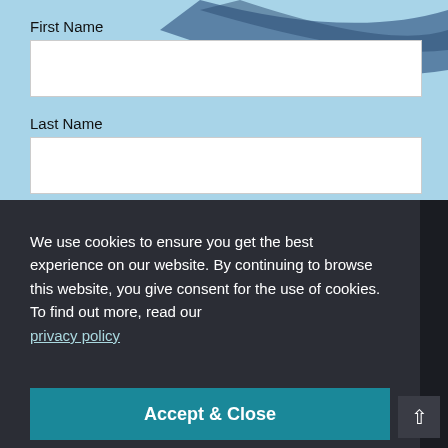First Name
[Figure (screenshot): Empty text input field for First Name]
Last Name
[Figure (screenshot): Empty text input field for Last Name]
We use cookies to ensure you get the best experience on our website. By continuing to browse this website, you give consent for the use of cookies. To find out more, read our
privacy policy
Accept & Close